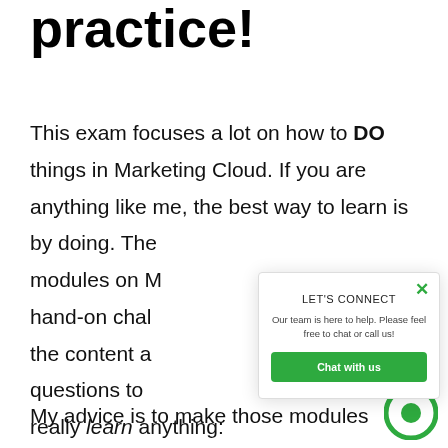practice!
This exam focuses a lot on how to DO things in Marketing Cloud. If you are anything like me, the best way to learn is by doing. The modules on M hand-on chal the content a questions to really learn anything:
[Figure (screenshot): Chat widget popup with 'LET'S CONNECT' header, subtitle 'Our team is here to help. Please feel free to chat or call us!', a green 'Chat with us' button, a close X button in green, and a green circular chat icon at bottom right.]
My advice is to make those modules